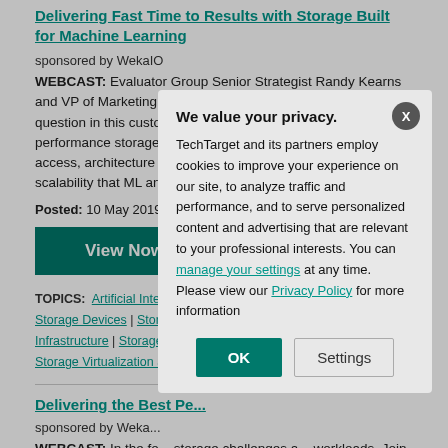Delivering Fast Time to Results with Storage Built for Machine Learning
sponsored by WekaIO
WEBCAST: Evaluator Group Senior Strategist Randy Kearns and VP of Marketing at WekaIO Barbara Murphy dig into this question in this custom webcast; they also examine a high-performance storage system that provides the parallel data access, architecture for multiple data types, and flexible scalability that ML and DL workloads require.
Posted: 10 May 2019 | Premiered: May 10, 2019
View Now
TOPICS: Artificial Intelligence | Machine Learning | Storage Best Practices | Storage Devices | Storage Infrastructure | Storage Management | Storage Virtualization Software
Delivering the Best Pe...
sponsored by Weka...
WEBCAST: In the fo... storage challenges a... workloads. Join here... solution that provides the performance, reliability, and scalability these workloads require.
We value your privacy. TechTarget and its partners employ cookies to improve your experience on our site, to analyze traffic and performance, and to serve personalized content and advertising that are relevant to your professional interests. You can manage your settings at any time. Please view our Privacy Policy for more information